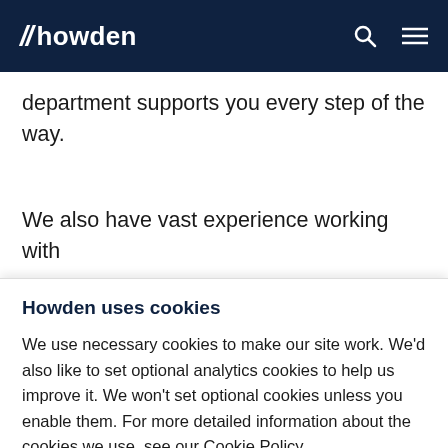// howden
department supports you every step of the way.
We also have vast experience working with
Howden uses cookies
We use necessary cookies to make our site work. We'd also like to set optional analytics cookies to help us improve it. We won't set optional cookies unless you enable them. For more detailed information about the cookies we use, see our Cookie Policy.